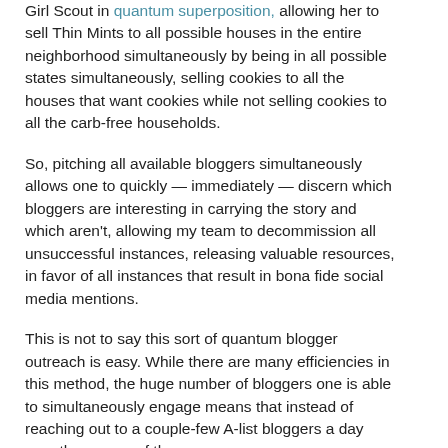Girl Scout in quantum superposition, allowing her to sell Thin Mints to all possible houses in the entire neighborhood simultaneously by being in all possible states simultaneously, selling cookies to all the houses that want cookies while not selling cookies to all the carb-free households.
So, pitching all available bloggers simultaneously allows one to quickly — immediately — discern which bloggers are interesting in carrying the story and which aren't, allowing my team to decommission all unsuccessful instances, releasing valuable resources, in favor of all instances that result in bona fide social media mentions.
This is not to say this sort of quantum blogger outreach is easy. While there are many efficiencies in this method, the huge number of bloggers one is able to simultaneously engage means that instead of reaching out to a couple-few A-list bloggers a day over the course of the